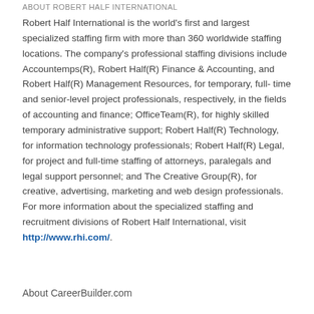ABOUT ROBERT HALF INTERNATIONAL
Robert Half International is the world's first and largest specialized staffing firm with more than 360 worldwide staffing locations. The company's professional staffing divisions include Accountemps(R), Robert Half(R) Finance & Accounting, and Robert Half(R) Management Resources, for temporary, full- time and senior-level project professionals, respectively, in the fields of accounting and finance; OfficeTeam(R), for highly skilled temporary administrative support; Robert Half(R) Technology, for information technology professionals; Robert Half(R) Legal, for project and full-time staffing of attorneys, paralegals and legal support personnel; and The Creative Group(R), for creative, advertising, marketing and web design professionals. For more information about the specialized staffing and recruitment divisions of Robert Half International, visit http://www.rhi.com/.
About CareerBuilder.com